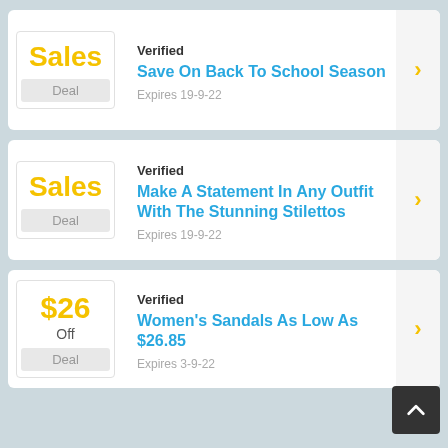Verified | Sales Deal | Save On Back To School Season | Expires 19-9-22
Verified | Sales Deal | Make A Statement In Any Outfit With The Stunning Stilettos | Expires 19-9-22
Verified | $26 Off Deal | Women's Sandals As Low As $26.85 | Expires 3-9-22